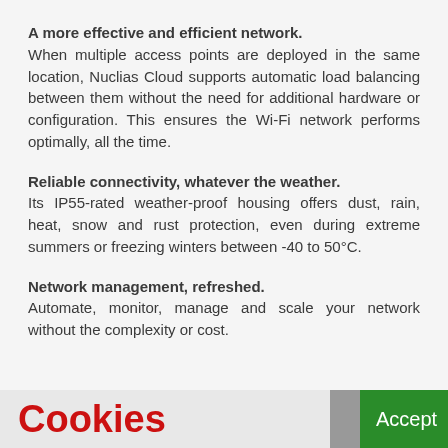A more effective and efficient network. When multiple access points are deployed in the same location, Nuclias Cloud supports automatic load balancing between them without the need for additional hardware or configuration. This ensures the Wi-Fi network performs optimally, all the time.
Reliable connectivity, whatever the weather. Its IP55-rated weather-proof housing offers dust, rain, heat, snow and rust protection, even during extreme summers or freezing winters between -40 to 50°C.
Network management, refreshed. Automate, monitor, manage and scale your network without the complexity or cost.
Cookies
Accept